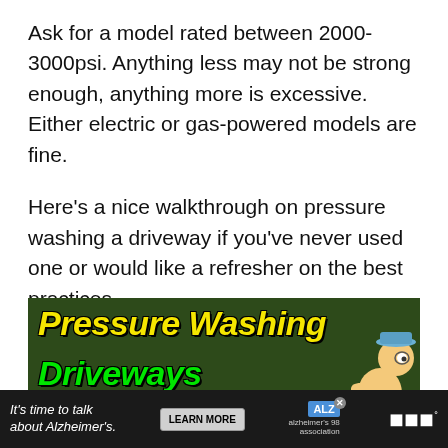Ask for a model rated between 2000-3000psi. Anything less may not be strong enough, anything more is excessive. Either electric or gas-powered models are fine.
Here's a nice walkthrough on pressure washing a driveway if you've never used one or would like a refresher on the best practices.
[Figure (illustration): Thumbnail image for a video about pressure washing driveways. Dark green background with yellow bold italic text reading 'Pressure Washing' and green bold italic text reading 'Driveways' below. An animated character wearing a blue hat is visible at the right side.]
[Figure (infographic): Advertisement bar at the bottom with dark background. Text reads 'It's time to talk about Alzheimer's.' with a 'LEARN MORE' button and the ALZ Alzheimer's association logo. A sound/mute icon is visible on the right.]